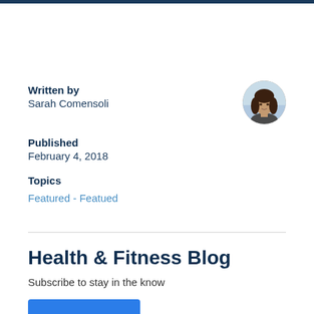Written by
Sarah Comensoli
[Figure (photo): Circular avatar photo of Sarah Comensoli, a woman with dark hair]
Published
February 4, 2018
Topics
Featured - Featued
Health & Fitness Blog
Subscribe to stay in the know